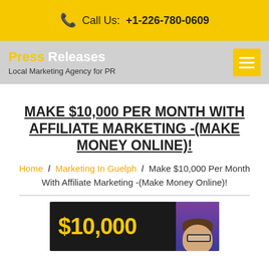Call Us: +1-226-780-0609
Press Releases — Local Marketing Agency for PR
MAKE $10,000 PER MONTH WITH AFFILIATE MARKETING -(MAKE MONEY ONLINE)!
Home / Marketing In Guelph / Make $10,000 Per Month With Affiliate Marketing -(Make Money Online)!
[Figure (photo): Promotional image showing '$10,000' in yellow text on a dark/purple background with a man wearing glasses]